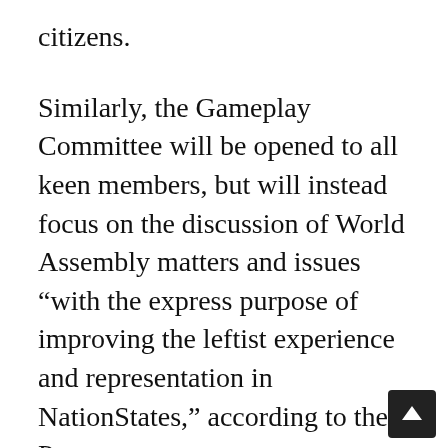citizens.
Similarly, the Gameplay Committee will be opened to all keen members, but will instead focus on the discussion of World Assembly matters and issues “with the express purpose of improving the leftist experience and representation in NationStates,” according to the Pact.
Another major upheaval is the formal appointment of The Red Fleet as the alliance’s official military. This follows the merging of The Communist Bloc’s People’s Revolutionary Armed Forces (PRAF) into it